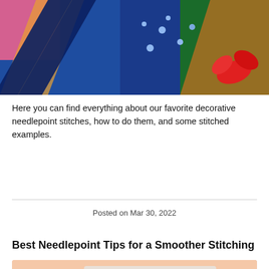[Figure (photo): Close-up of colorful needlepoint embroidery with blue, pink, yellow, red, and green stitched patterns on canvas]
Here you can find everything about our favorite decorative needlepoint stitches, how to do them, and some stitched examples.
Posted on Mar 30, 2022
Best Needlepoint Tips for a Smoother Stitching
[Figure (photo): Hands threading a needle through beaded needlepoint canvas with pink and brown decorative elements]